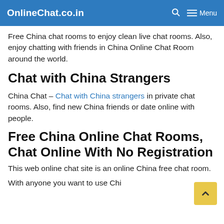OnlineChat.co.in  🔍  ☰ Menu
Free China chat rooms to enjoy clean live chat rooms. Also, enjoy chatting with friends in China Online Chat Room around the world.
Chat with China Strangers
China Chat – Chat with China strangers in private chat rooms. Also, find new China friends or date online with people.
Free China Online Chat Rooms, Chat Online With No Registration
This web online chat site is an online China free chat room. With anyone you want to use China